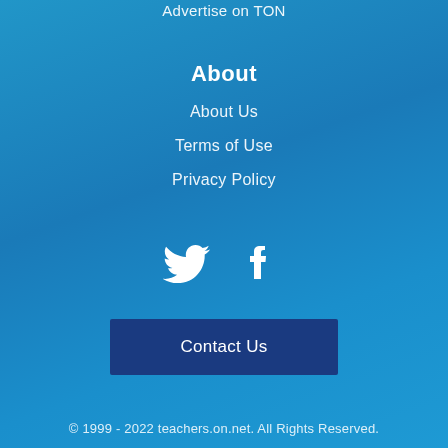Advertise on TON
About
About Us
Terms of Use
Privacy Policy
[Figure (illustration): Twitter and Facebook social media icons in white]
Contact Us
© 1999 - 2022 teachers.on.net. All Rights Reserved.